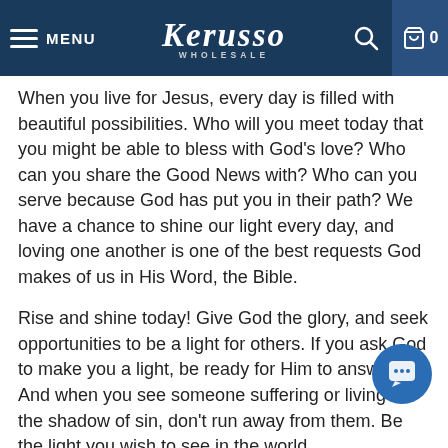MENU | Kerusso WHOLESALE | [search] [cart 0]
When you live for Jesus, every day is filled with beautiful possibilities. Who will you meet today that you might be able to bless with God's love? Who can you share the Good News with? Who can you serve because God has put you in their path? We have a chance to shine our light every day, and loving one another is one of the best requests God makes of us in His Word, the Bible.
Rise and shine today! Give God the glory, and seek opportunities to be a light for others. If you ask God to make you a light, be ready for Him to answer. And when you see someone suffering or living in the shadow of sin, don't run away from them. Be the light you wish to see in the world. #graceANDtruth #BookOfIsaiah #RiseAndShine #BeTheLight
grace & truth® Adult Hooded T-Shirt - Rise &